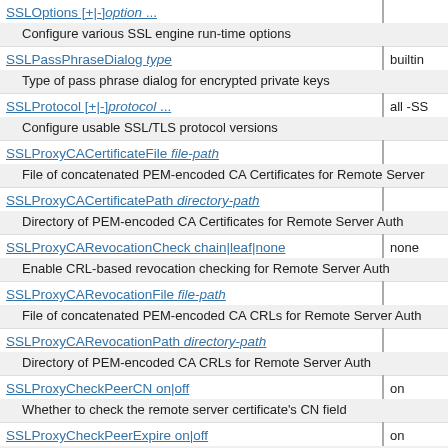| Directive | Default |
| --- | --- |
| SSLOptions [+|-]option ... |  |
| Configure various SSL engine run-time options |  |
| SSLPassPhraseDialog type | builtin |
| Type of pass phrase dialog for encrypted private keys |  |
| SSLProtocol [+|-]protocol ... | all -SS |
| Configure usable SSL/TLS protocol versions |  |
| SSLProxyCACertificateFile file-path |  |
| File of concatenated PEM-encoded CA Certificates for Remote Server |  |
| SSLProxyCACertificatePath directory-path |  |
| Directory of PEM-encoded CA Certificates for Remote Server Auth |  |
| SSLProxyCARevocationCheck chain|leaf|none | none |
| Enable CRL-based revocation checking for Remote Server Auth |  |
| SSLProxyCARevocationFile file-path |  |
| File of concatenated PEM-encoded CA CRLs for Remote Server Auth |  |
| SSLProxyCARevocationPath directory-path |  |
| Directory of PEM-encoded CA CRLs for Remote Server Auth |  |
| SSLProxyCheckPeerCN on|off | on |
| Whether to check the remote server certificate's CN field |  |
| SSLProxyCheckPeerExpire on|off | on |
| Whether to check if remote server certificate is expired |  |
| SSLProxyCheckPeerName on|off | on |
| Configure host name checking for remote server certificates |  |